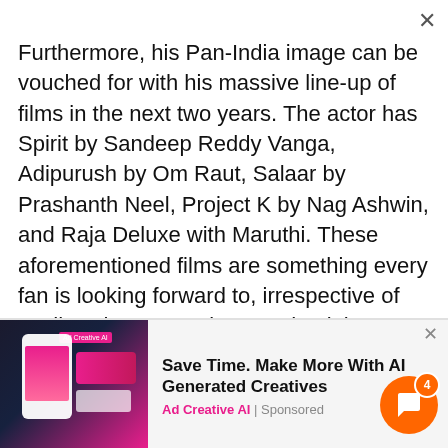Furthermore, his Pan-India image can be vouched for with his massive line-up of films in the next two years. The actor has Spirit by Sandeep Reddy Vanga, Adipurush by Om Raut, Salaar by Prashanth Neel, Project K by Nag Ashwin, and Raja Deluxe with Maruthi. These aforementioned films are something every fan is looking forward to, irrespective of Radhe Shyam's reviews and opinions.
[Figure (screenshot): Advertisement banner showing Ad Creative AI sponsored content with a device mockup on a dark/pink gradient background, and headline 'Save Time. Make More With AI Generated Creatives']